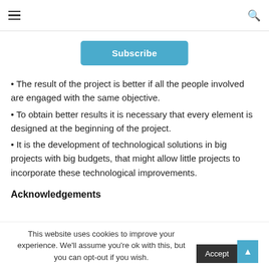≡  🔍
Subscribe
• The result of the project is better if all the people involved are engaged with the same objective.
• To obtain better results it is necessary that every element is designed at the beginning of the project.
• It is the development of technological solutions in big projects with big budgets, that might allow little projects to incorporate these technological improvements.
Acknowledgements
This website uses cookies to improve your experience. We'll assume you're ok with this, but you can opt-out if you wish.